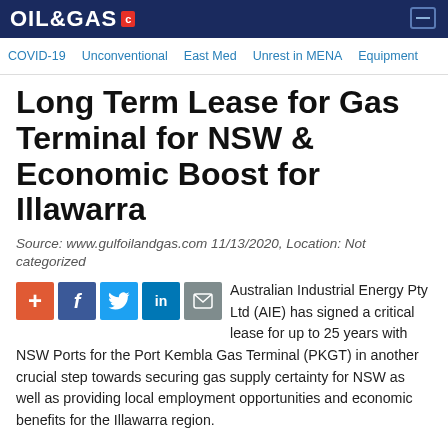OIL & GAS
COVID-19 | Unconventional | East Med | Unrest in MENA | Equipment
Long Term Lease for Gas Terminal for NSW & Economic Boost for Illawarra
Source: www.gulfoilandgas.com 11/13/2020, Location: Not categorized
Australian Industrial Energy Pty Ltd (AIE) has signed a critical lease for up to 25 years with NSW Ports for the Port Kembla Gas Terminal (PKGT) in another crucial step towards securing gas supply certainty for NSW as well as providing local employment opportunities and economic benefits for the Illawarra region.